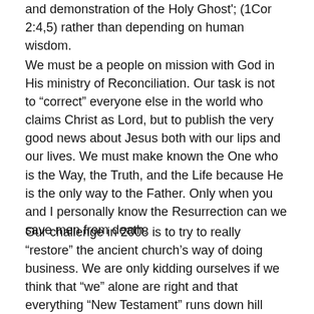and demonstration of the Holy Ghost'; (1Cor 2:4,5) rather than depending on human wisdom.
We must be a people on mission with God in His ministry of Reconciliation. Our task is not to “correct” everyone else in the world who claims Christ as Lord, but to publish the very good news about Jesus both with our lips and our lives. We must make known the One who is the Way, the Truth, and the Life because He is the only way to the Father. Only when you and I personally know the Resurrection can we save men from death.
Our challenge in 2008 is to try to really “restore” the ancient church’s way of doing business. We are only kidding ourselves if we think that “we” alone are right and that everything “New Testament” runs down hill from Resortation churches.